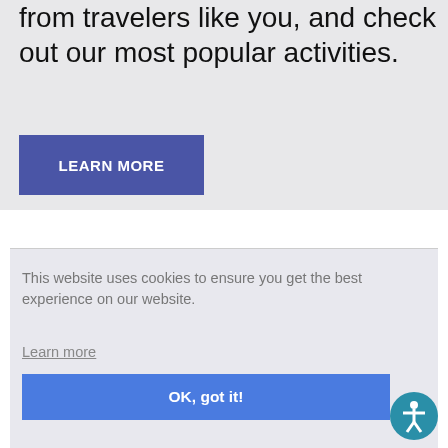from travelers like you, and check out our most popular activities.
LEARN MORE
This website uses cookies to ensure you get the best experience on our website.
Learn more
OK, got it!